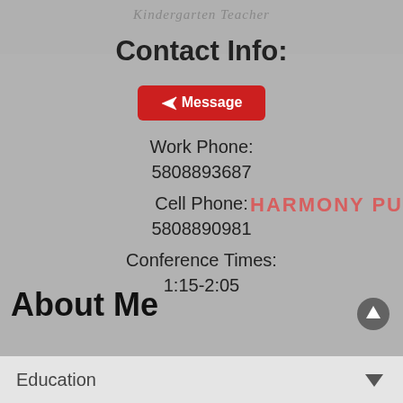Kindergarten Teacher
Contact Info:
Message
Work Phone:
5808893687
Cell Phone:
5808890981
Conference Times:
1:15-2:05
About Me
Education